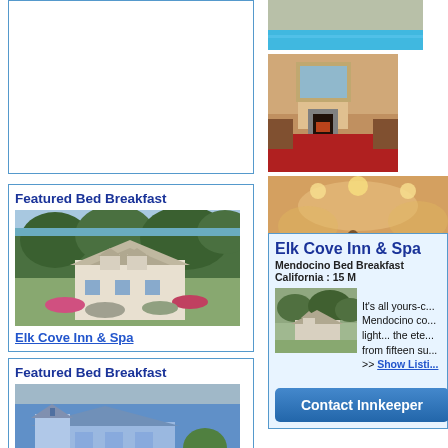Featured Bed Breakfast
[Figure (photo): Elk Cove Inn & Spa exterior with trees and ocean in background]
Elk Cove Inn & Spa
Featured Bed Breakfast
[Figure (photo): Victorian style bed and breakfast house with garden]
[Figure (photo): Pool area photo]
[Figure (photo): Interior room with fireplace and red carpet]
[Figure (photo): Dining room with warm lighting]
[Figure (photo): Bedroom interior]
Elk Cove Inn & Spa
Mendocino Bed Breakfast California : 15 M
[Figure (photo): Elk Cove Inn & Spa exterior thumbnail]
It's all yours-c... Mendocino co... light... the ete... from fifteen su...
>> Show Listi...
Contact Innkeeper